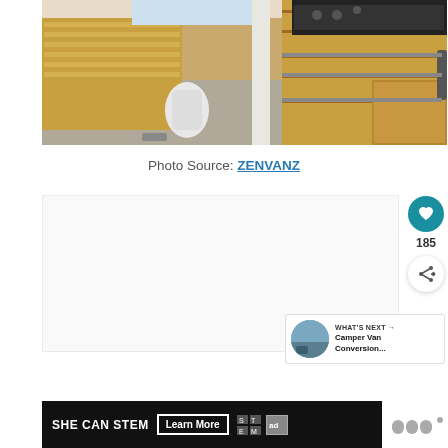[Figure (photo): Interior of a camper van conversion showing wood-paneled walls, cabinetry with light wood finish, a kitchen counter with stovetop, open floor space with gray carpet, and silver metal trim details.]
Photo Source: ZENVANZ
[Figure (other): Interactive UI elements: heart/like button (teal circle with heart icon), count of 185, and share button (circle with share icon)]
[Figure (other): What's Next panel with thumbnail image of a camper van on a road and text: WHAT'S NEXT → Camper Van Conversion...]
[Figure (other): Advertisement banner with dark background: SHE CAN STEM, Learn More button, STEM logo grid, Ad Council logo]
[Figure (logo): Gray logo/icon marks to the right of the ad banner]